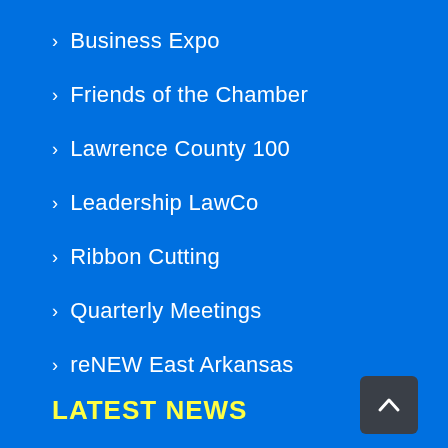Business Expo
Friends of the Chamber
Lawrence County 100
Leadership LawCo
Ribbon Cutting
Quarterly Meetings
reNEW East Arkansas
LATEST NEWS